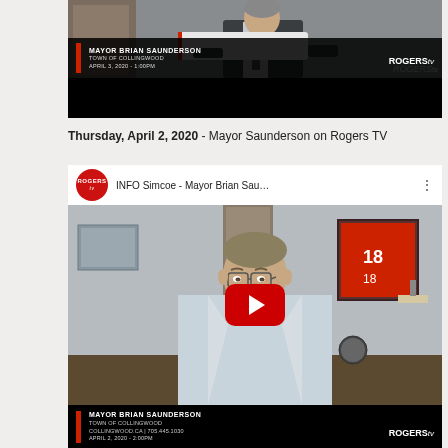[Figure (screenshot): Video thumbnail showing Mayor Brian Saunderson at Rogers TV, April 3, 2020 1:00PM, Town of Collingwood]
Thursday, April 2, 2020 - Mayor Saunderson on Rogers TV
[Figure (screenshot): YouTube video thumbnail: INFO Simcoe - Mayor Brian Sau... showing Mayor Brian Saunderson in his office, April 2, 2020 2:00PM, Town of Collingwood, collingwood.ca | 705.445.1030, Rogers TV logo]